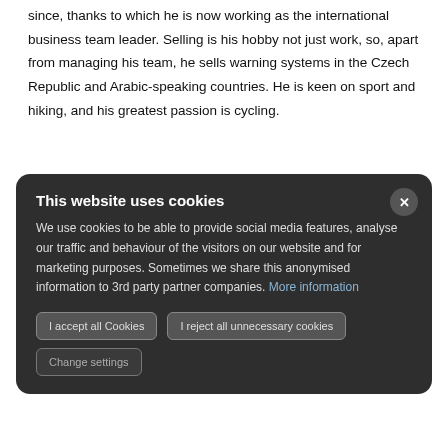since, thanks to which he is now working as the international business team leader. Selling is his hobby not just work, so, apart from managing his team, he sells warning systems in the Czech Republic and Arabic-speaking countries. He is keen on sport and hiking, and his greatest passion is cycling.
This website uses cookies
We use cookies to be able to provide social media features, analyse our traffic and behaviour of the visitors on our website and for marketing purposes. Sometimes we share this anonymised information to 3rd party partner companies. More information
I accept all Cookies
I reject all unnecessary cookies
Change settings